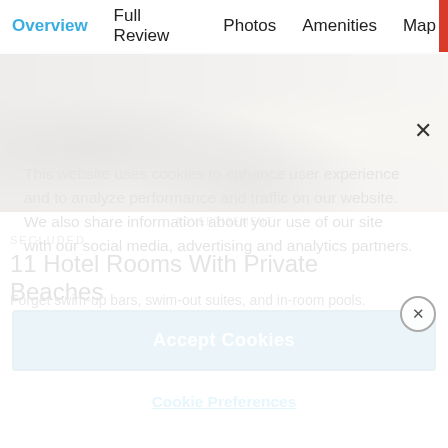Overview  Full Review  Photos  Amenities  Map
This website uses cookies to enhance user experience and to analyze performance and traffic on our website. We also share information about your use of our site with our social media, advertising and analytics partners.
Accept Cookies
Cookie Preferences
[Figure (photo): Partial view of a beach/tropical scene with rocks and sandy beach, partially obscured by cookie consent overlay]
ADVERTISEMENT
SECLUDED
11 Hotel Rooms With Private Beaches
Forget swim-up bars, swim-out suites, and in-room pools.